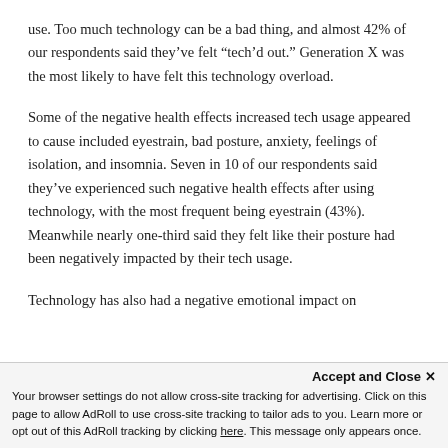use. Too much technology can be a bad thing, and almost 42% of our respondents said they've felt "tech'd out." Generation X was the most likely to have felt this technology overload.
Some of the negative health effects increased tech usage appeared to cause included eyestrain, bad posture, anxiety, feelings of isolation, and insomnia. Seven in 10 of our respondents said they've experienced such negative health effects after using technology, with the most frequent being eyestrain (43%). Meanwhile nearly one-third said they felt like their posture had been negatively impacted by their tech usage.
Technology has also had a negative emotional impact on
Your browser settings do not allow cross-site tracking for advertising. Click on this page to allow AdRoll to use cross-site tracking to tailor ads to you. Learn more or opt out of this AdRoll tracking by clicking here. This message only appears once.